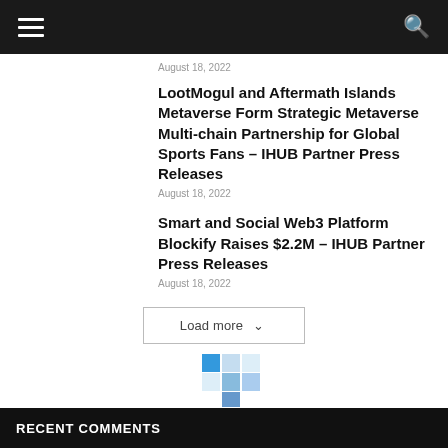August 18, 2022
LootMogul and Aftermath Islands Metaverse Form Strategic Metaverse Multi-chain Partnership for Global Sports Fans – IHUB Partner Press Releases
August 18, 2022
Smart and Social Web3 Platform Blockify Raises $2.2M – IHUB Partner Press Releases
August 18, 2022
Load more
[Figure (logo): Colorful grid logo with blue and light blue squares]
RECENT COMMENTS